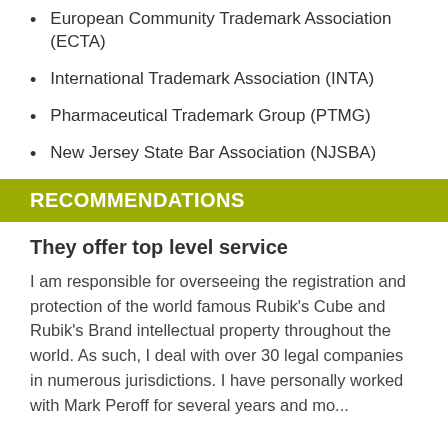European Community Trademark Association (ECTA)
International Trademark Association (INTA)
Pharmaceutical Trademark Group (PTMG)
New Jersey State Bar Association (NJSBA)
RECOMMENDATIONS
They offer top level service
I am responsible for overseeing the registration and protection of the world famous Rubik's Cube and Rubik's Brand intellectual property throughout the world. As such, I deal with over 30 legal companies in numerous jurisdictions. I have personally worked with Mark Peroff for several years and mo...